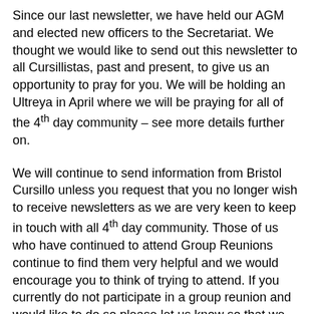Since our last newsletter, we have held our AGM and elected new officers to the Secretariat. We thought we would like to send out this newsletter to all Cursillistas, past and present, to give us an opportunity to pray for you. We will be holding an Ultreya in April where we will be praying for all of the 4th day community – see more details further on.
We will continue to send information from Bristol Cursillo unless you request that you no longer wish to receive newsletters as we are very keen to keep in touch with all 4th day community. Those of us who have continued to attend Group Reunions continue to find them very helpful and we would encourage you to think of trying to attend. If you currently do not participate in a group reunion and would like to do so please let us know so that we can arrange to make contact with others for you.
This newsletter includes: